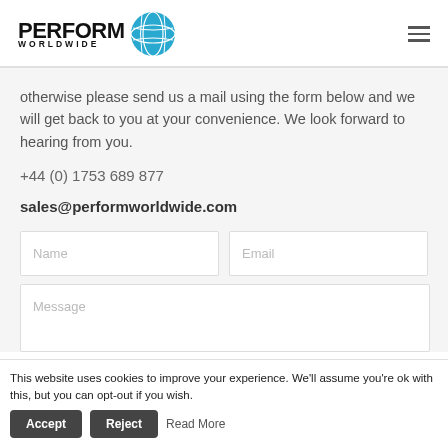[Figure (logo): Perform Worldwide logo with globe icon and bold text PERFORM WORLDWIDE]
otherwise please send us a mail using the form below and we will get back to you at your convenience. We look forward to hearing from you.
+44 (0) 1753 689 877
sales@performworldwide.com
Name
Email
Message
This website uses cookies to improve your experience. We'll assume you're ok with this, but you can opt-out if you wish. Accept Reject Read More